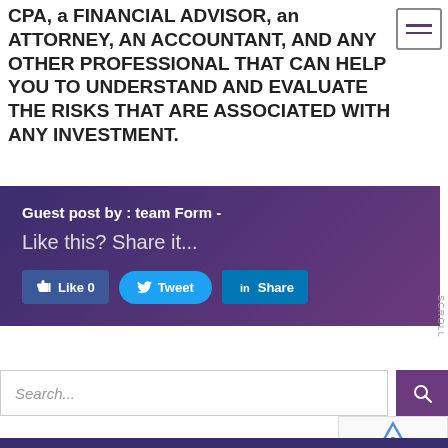CPA, a FINANCIAL ADVISOR, an ATTORNEY, AN ACCOUNTANT, AND ANY OTHER PROFESSIONAL THAT CAN HELP YOU TO UNDERSTAND AND EVALUATE THE RISKS THAT ARE ASSOCIATED WITH ANY INVESTMENT.
[Figure (other): Navigation menu hamburger icon — three horizontal lines in a bordered box]
Guest post by : team Form -
Like this? Share it...
[Like 0] [Tweet] [Share]
Search...